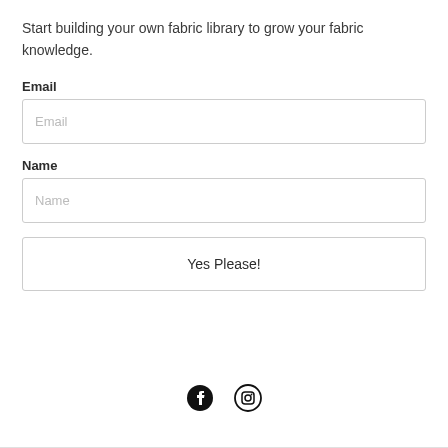Start building your own fabric library to grow your fabric knowledge.
Email
Email (placeholder)
Name
Name (placeholder)
Yes Please!
[Figure (illustration): Facebook and Instagram social media icons at the bottom of the page]